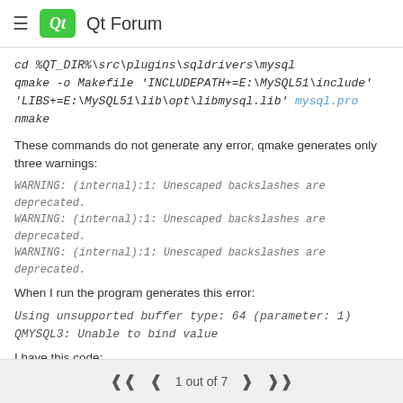Qt Forum
cd %QT_DIR%\src\plugins\sqldrivers\mysql
qmake -o Makefile 'INCLUDEPATH+=E:\MySQL51\include' 'LIBS+=E:\MySQL51\lib\opt\libmysql.lib' mysql.pro
nmake
These commands do not generate any error, qmake generates only three warnings:
WARNING: (internal):1: Unescaped backslashes are deprecated.
WARNING: (internal):1: Unescaped backslashes are deprecated.
WARNING: (internal):1: Unescaped backslashes are deprecated.
When I run the program generates this error:
Using unsupported buffer type: 64 (parameter: 1) QMYSQL3: Unable to bind value
I have this code:
@class Principal : public QWidget
{
1 out of 7